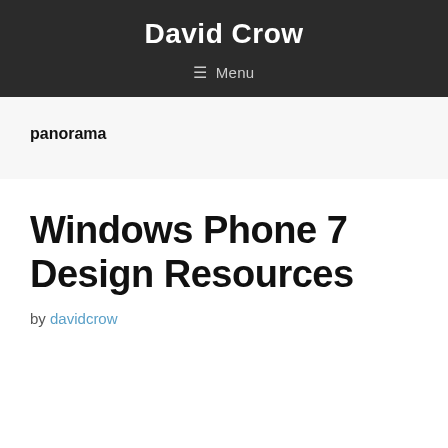David Crow
≡ Menu
panorama
Windows Phone 7 Design Resources
by davidcrow